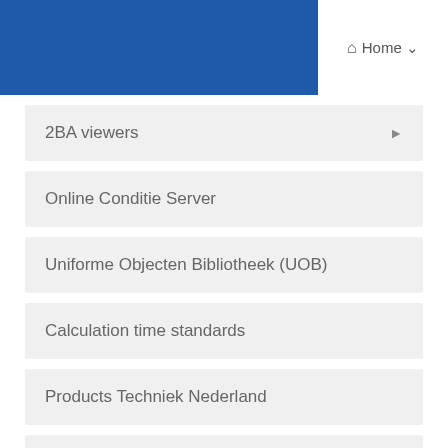Home
2BA viewers
Online Conditie Server
Uniforme Objecten Bibliotheek (UOB)
Calculation time standards
Products Techniek Nederland
Client cases
Rates
Register